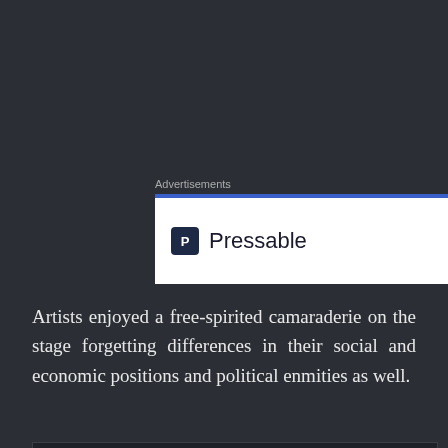Advertisements
[Figure (logo): Pressable logo — white rectangle with blue top border, showing the Pressable 'P' icon and the word 'Pressable' in dark text]
Artists enjoyed a free-spirited camaraderie on the stage forgetting differences in their social and economic positions and political enmities as well.
Privacy & Cookies: This site uses cookies. By continuing to use this website, you agree to their use.
To find out more, including how to control cookies, see here: Cookie Policy
Close and accept